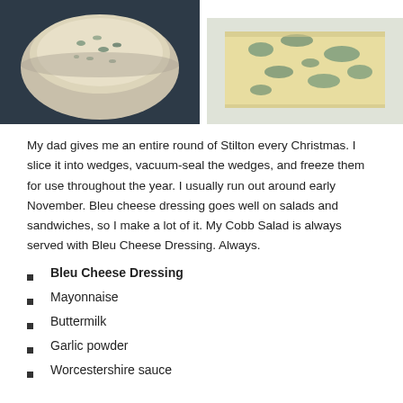[Figure (photo): Photo of blue cheese dressing in a bowl, creamy white with blue-green flecks, on a dark background]
[Figure (photo): Photo of a wedge of Stilton blue cheese wrapped in plastic, showing blue-green mold veins]
My dad gives me an entire round of Stilton every Christmas. I slice it into wedges, vacuum-seal the wedges, and freeze them for use throughout the year. I usually run out around early November. Bleu cheese dressing goes well on salads and sandwiches, so I make a lot of it. My Cobb Salad is always served with Bleu Cheese Dressing. Always.
Bleu Cheese Dressing
Mayonnaise
Buttermilk
Garlic powder
Worcestershire sauce